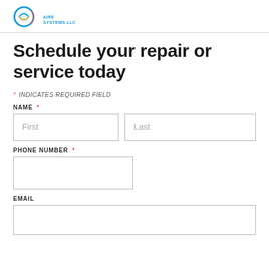AIRE SYSTEMS LLC
Schedule your repair or service today
* INDICATES REQUIRED FIELD
NAME *
PHONE NUMBER *
EMAIL